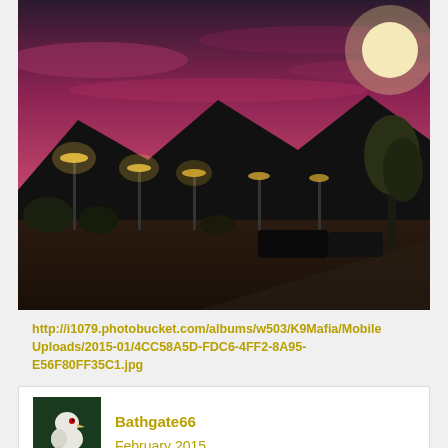[Figure (photo): Night scene with pink/purple sunset sky, silhouetted mountains, street lights, parking lot with cars, and trees on the right side]
http://i1079.photobucket.com/albums/w503/K9Mafia/MobileUploads/2015-01/4CC58A5D-FDC6-4FF2-8A95-E56F80FF35C1.jpg
[Figure (illustration): User avatar: small icon showing a white bird (possibly a seagull or parrot) on a dark green background]
Bathgate66
February 2015
Rockaway Beach NYC and historic Jacob Riis park